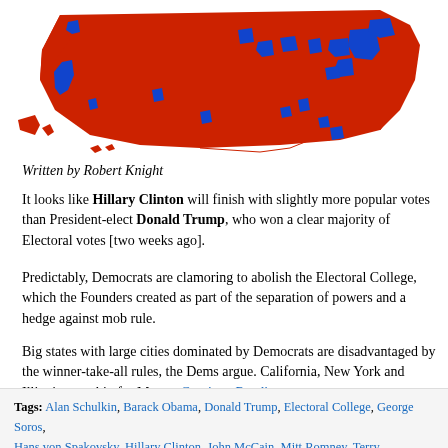[Figure (map): US county-level election map showing 2016 presidential election results. Red (Republican/Trump) dominates most of the country geographically, with blue (Democrat/Clinton) concentrated in urban areas along the coasts, upper Midwest cities, and major metropolitan areas.]
Written by Robert Knight
It looks like Hillary Clinton will finish with slightly more popular votes than President-elect Donald Trump, who won a clear majority of Electoral votes [two weeks ago].
Predictably, Democrats are clamoring to abolish the Electoral College, which the Founders created as part of the separation of powers and a hedge against mob rule.
Big states with large cities dominated by Democrats are disadvantaged by the winner-take-all rules, the Dems argue. California, New York and Illinois went big for Mrs.… Continue Reading
Tags: Alan Schulkin, Barack Obama, Donald Trump, Electoral College, George Soros, Hans von Spakovsky, Hillary Clinton, John McCain, Mitt Romney, Terry McAuliffe